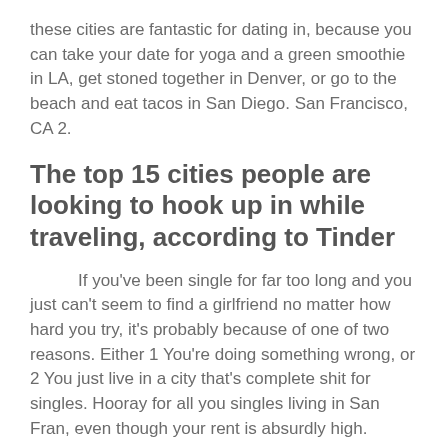these cities are fantastic for dating in, because you can take your date for yoga and a green smoothie in LA, get stoned together in Denver, or go to the beach and eat tacos in San Diego. San Francisco, CA 2.
The top 15 cities people are looking to hook up in while traveling, according to Tinder
If you've been single for far too long and you just can't seem to find a girlfriend no matter how hard you try, it's probably because of one of two reasons. Either 1 You're doing something wrong, or 2 You just live in a city that's complete shit for singles. Hooray for all you singles living in San Fran, even though your rent is absurdly high.
Next, in third place, is Los Angeles of course , followed closely by Denver in fourth, and San Diego in